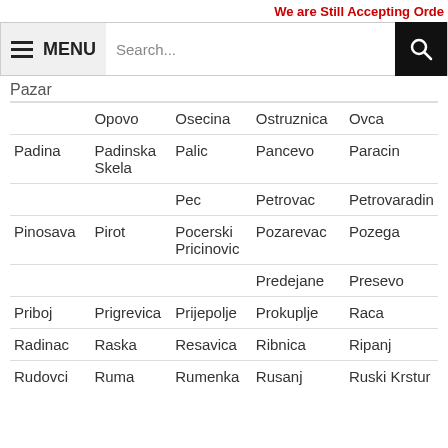We are Still Accepting Orde
Pazar
| Col1 | Col2 | Col3 | Col4 | Col5 |
| --- | --- | --- | --- | --- |
|  | Opovo | Osecina | Ostruznica | Ovca |
| Padina | Padinska Skela | Palic | Pancevo | Paracin |
|  |  | Pec | Petrovac | Petrovaradin |
| Pinosava | Pirot | Pocerski Pricinovic | Pozarevac | Pozega |
|  |  |  | Predejane | Presevo |
| Priboj | Prigrevica | Prijepolje | Prokuplje | Raca |
| Radinac | Raska | Resavica | Ribnica | Ripanj |
| Rudovci | Ruma | Rumenka | Rusanj | Ruski Krstur |